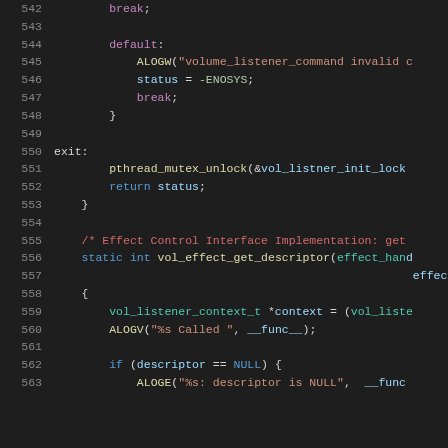[Figure (screenshot): Syntax-highlighted source code, lines 542–563, showing C code for a volume listener effect module including a default case with ALOGW, status assignment, exit label with mutex unlock, return statement, and the beginning of vol_effect_get_descriptor function.]